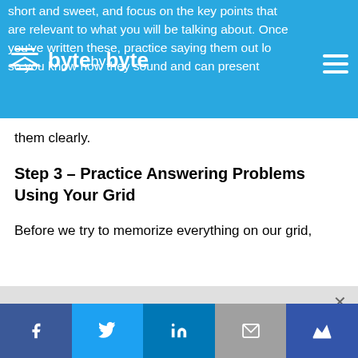byte by byte — logo and navigation header
short and sweet, and focus on the key points that are relevant to what you will be talking about. Once you've written these, practice saying them out loud so you know how they sound and can present them clearly.
Step 3 – Practice Answering Problems Using Your Grid
Before we try to memorize everything on our grid,
Get fully prepared for your Coding Interview with expert interview coaching from Exponent. Learn More →
Social share bar: Facebook, Twitter, LinkedIn, Email, Crown